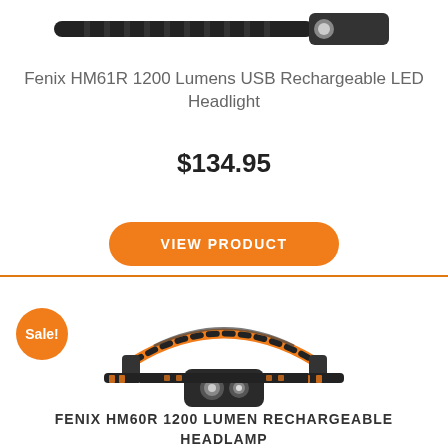[Figure (photo): Fenix HM61R headlamp/flashlight shown horizontally against white background]
Fenix HM61R 1200 Lumens USB Rechargeable LED Headlight
$134.95
VIEW PRODUCT
[Figure (photo): Fenix HM60R headlamp shown with orange and black headband against white background, with Sale! badge]
FENIX HM60R 1200 LUMEN RECHARGEABLE HEADLAMP